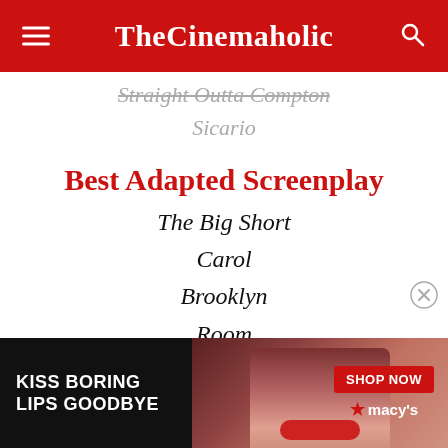TheCinemaholic
Straight Outta Compton
Sicario
Best Adapted Screenplay
The Big Short
Carol
Brooklyn
Room
Steve Jobs
[Figure (photo): Macy's advertisement banner showing a woman with red lips, text 'KISS BORING LIPS GOODBYE' and 'SHOP NOW' button with Macy's logo]